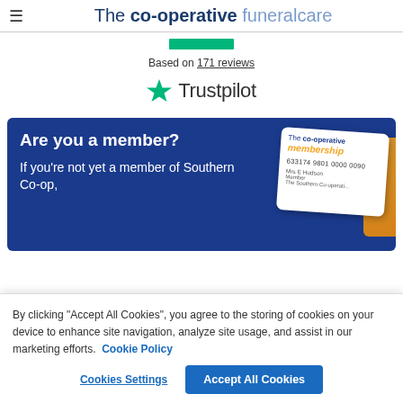The co-operative funeralcare
Based on 171 reviews
[Figure (logo): Trustpilot logo with green star and wordmark 'Trustpilot']
[Figure (infographic): Membership promotion banner on dark blue background with co-operative membership card. Text: 'Are you a member? If you're not yet a member of Southern Co-op,']
By clicking "Accept All Cookies", you agree to the storing of cookies on your device to enhance site navigation, analyze site usage, and assist in our marketing efforts. Cookie Policy
Cookies Settings
Accept All Cookies